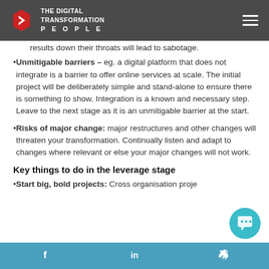The Digital Transformation People
results down their throats will lead to sabotage.
Unmitigable barriers – eg. a digital platform that does not integrate is a barrier to offer online services at scale. The initial project will be deliberately simple and stand-alone to ensure there is something to show. Integration is a known and necessary step. Leave to the next stage as it is an unmitigable barrier at the start.
Risks of major change: major restructures and other changes will threaten your transformation. Continually listen and adapt to changes where relevant or else your major changes will not work.
Key things to do in the leverage stage
Start big, bold projects: Cross organisation proje...
f  in  (twitter)